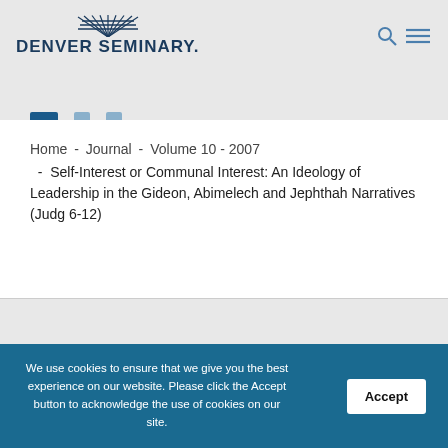DENVER SEMINARY.
Home - Journal - Volume 10 - 2007 - Self-Interest or Communal Interest: An Ideology of Leadership in the Gideon, Abimelech and Jephthah Narratives (Judg 6-12)
We use cookies to ensure that we give you the best experience on our website. Please click the Accept button to acknowledge the use of cookies on our site.